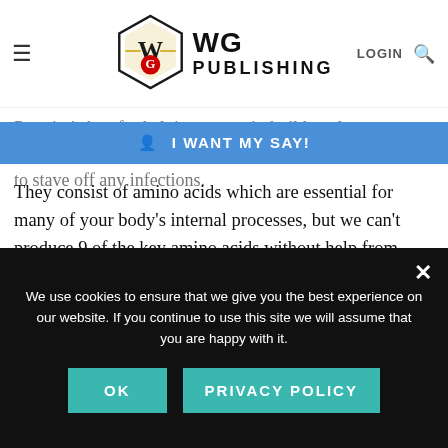Protein
[Figure (logo): WG Publishing logo with masonic/globe emblem above WG lettering in gold and red, beside bold text 'WG PUBLISHING']
Protein is key for helping to repair, build, and grow your muscles, and it also boosts your immune system and helps to stave off any infections.
I WANT MY SAY!
They consist of amino acids which are essential for many of your body's internal processes, but we can't produce 9 of the key amino acids without help from protein sources.
Some sources of protein include beef, fish, poultry, soy, and other dairy products. You can also find it in many beans and
We use cookies to ensure that we give you the best experience on our website. If you continue to use this site we will assume that you are happy with it.
OK
PRIVACY POLICY